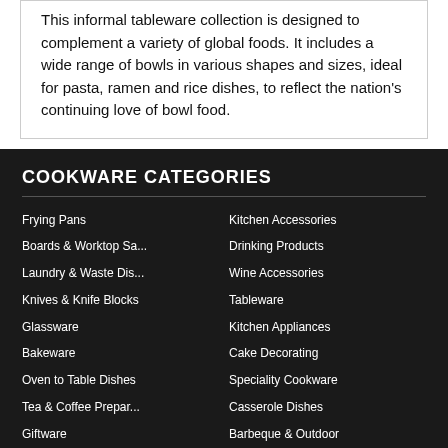This informal tableware collection is designed to complement a variety of global foods. It includes a wide range of bowls in various shapes and sizes, ideal for pasta, ramen and rice dishes, to reflect the nation's continuing love of bowl food.
COOKWARE CATEGORIES
Frying Pans
Kitchen Accessories
Boards & Worktop Sa...
Drinking Products
Laundry & Waste Dis...
Wine Accessories
Knives & Knife Blocks
Tableware
Glassware
Kitchen Appliances
Bakeware
Cake Decorating
Oven to Table Dishes
Speciality Cookware
Tea & Coffee Prepar...
Casserole Dishes
Giftware
Barbeque & Outdoor
Nespresso
Chefsware